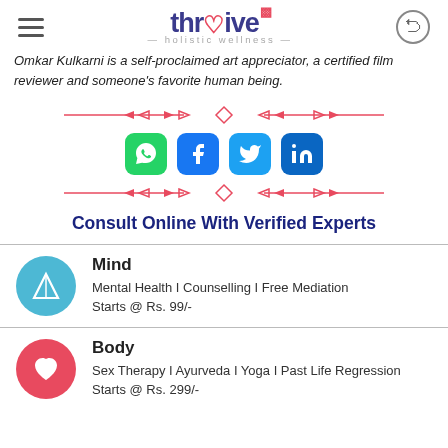thriive - holistic wellness
Omkar Kulkarni is a self-proclaimed art appreciator, a certified film reviewer and someone's favorite human being.
[Figure (illustration): Decorative red arrow divider with diamond shape in center]
[Figure (illustration): Social share icons: WhatsApp, Facebook, Twitter, LinkedIn]
[Figure (illustration): Decorative red arrow divider with diamond shape in center]
Consult Online With Verified Experts
Mind
Mental Health I Counselling I Free Mediation
Starts @ Rs. 99/-
Body
Sex Therapy I Ayurveda I Yoga I Past Life Regression
Starts @ Rs. 299/-